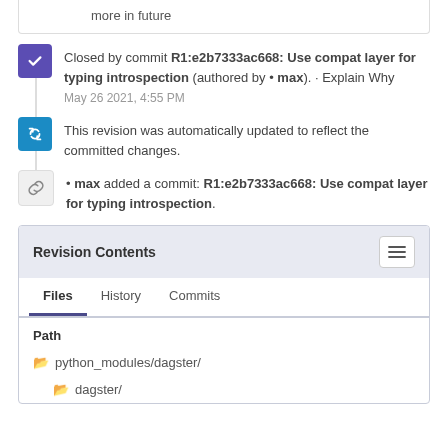more in future
Closed by commit R1:e2b7333ac668: Use compat layer for typing introspection (authored by • max). · Explain Why May 26 2021, 4:55 PM
This revision was automatically updated to reflect the committed changes.
• max added a commit: R1:e2b7333ac668: Use compat layer for typing introspection.
Revision Contents
Files
History
Commits
Path
python_modules/dagster/
dagster/